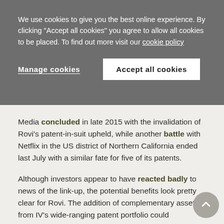We use cookies to give you the best online experience. By clicking "Accept all cookies" you agree to allow all cookies to be placed. To find out more visit our cookie policy
Manage cookies
Accept all cookies
Media concluded in late 2015 with the invalidation of Rovi's patent-in-suit upheld, while another battle with Netflix in the US district of Northern California ended last July with a similar fate for five of its patents.
Although investors appear to have reacted badly to news of the link-up, the potential benefits look pretty clear for Rovi. The addition of complementary assets from IV's wide-ranging patent portfolio could